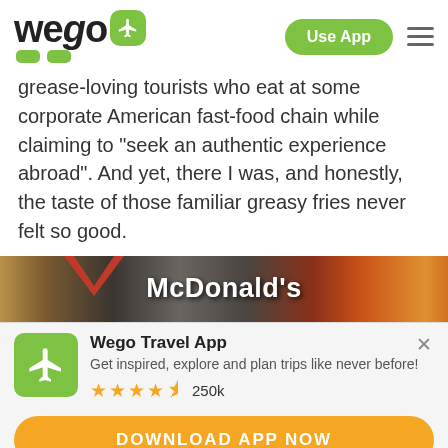[Figure (logo): Wego logo with airplane icon and green accents, plus Use App button and hamburger menu]
grease-loving tourists who eat at some corporate American fast-food chain while claiming to “seek an authentic experience abroad”. And yet, there I was, and honestly, the taste of those familiar greasy fries never felt so good.
[Figure (photo): McDonald's restaurant exterior sign with red arrow chevron and golden arches, dark background]
Wego Travel App
Get inspired, explore and plan trips like never before!
★★★★½ 250k
DOWNLOAD APP NOW